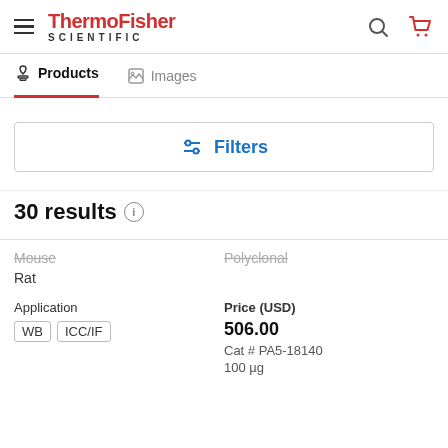ThermoFisher SCIENTIFIC
Products | Images
Filters
30 results
Mouse
Rat
Polyclonal
Application
WB  ICC/IF
Price (USD)
506.00
Cat # PA5-18140
100 µg